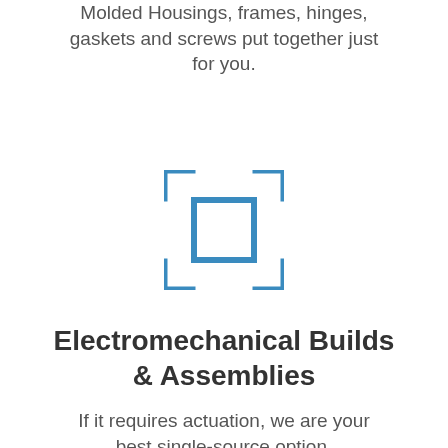Molded Housings, frames, hinges, gaskets and screws put together just for you.
[Figure (illustration): Blue line-art icon showing a square inside a bracket/frame target symbol, representing assembly or component placement.]
Electromechanical Builds & Assemblies
If it requires actuation, we are your best single-source option.